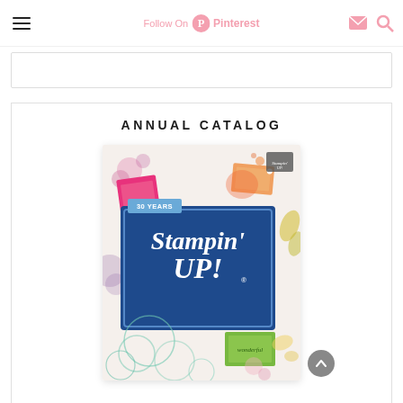Follow On Pinterest
[Figure (illustration): White rectangular ad banner placeholder]
ANNUAL CATALOG
[Figure (photo): Stampin' Up! 30 Years Annual Catalog cover featuring floral decorations, craft supplies, and blue center panel with Stampin' Up! logo]